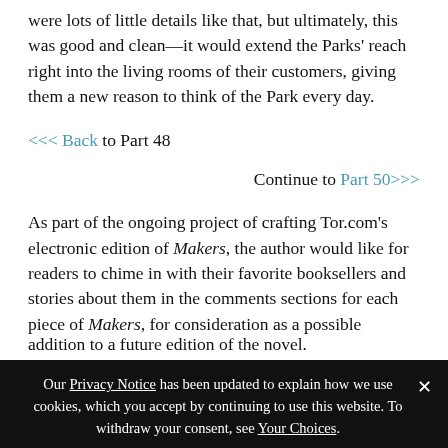were lots of little details like that, but ultimately, this was good and clean—it would extend the Parks' reach right into the living rooms of their customers, giving them a new reason to think of the Park every day.
<<< Back to Part 48
Continue to Part 50>>>
As part of the ongoing project of crafting Tor.com's electronic edition of Makers, the author would like for readers to chime in with their favorite booksellers and stories about them in the comments sections for each piece of Makers, for consideration as a possible addition to a future edition of the novel.
Our Privacy Notice has been updated to explain how we use cookies, which you accept by continuing to use this website. To withdraw your consent, see Your Choices.